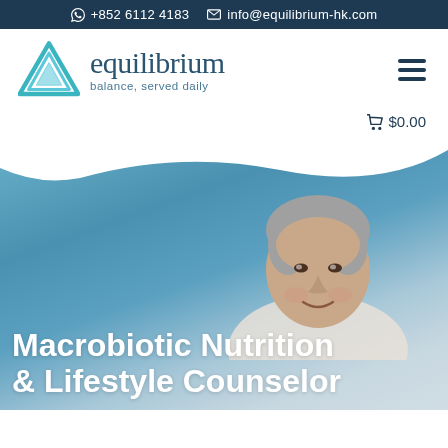+852 6112 4183   info@equilibrium-hk.com
[Figure (logo): Equilibrium logo: teal/blue triangle outline with text 'equilibrium' in dark teal serif font and tagline 'balance, served daily' below]
🛒$0.00
[Figure (photo): Middle-aged man with grey hair smiling outdoors against a blue sky background]
Macrobiotic Nutrition & Lifestyle Counselor